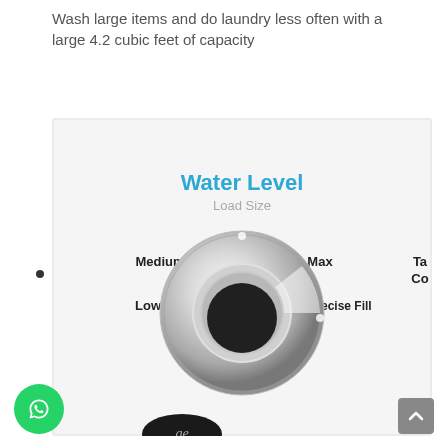Wash large items and do laundry less often with a large 4.2 cubic feet of capacity
[Figure (photo): Close-up photo of a washing machine control panel showing a chrome Water Level dial with settings: Low, Medium, High, Max, Precise Fill, and partially visible 'Ta Co' label. Blue text reads 'Water Level' and gray text reads 'Load Size' above the knob. A GE logo badge is partially visible at the bottom.]